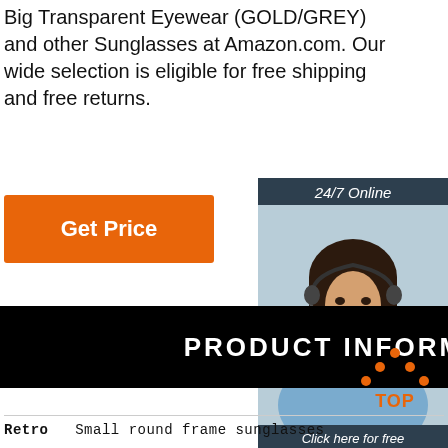Big Transparent Eyewear (GOLD/GREY) and other Sunglasses at Amazon.com. Our wide selection is eligible for free shipping and free returns.
[Figure (other): Orange 'Get Price' button]
[Figure (other): Customer support widget with woman wearing headset, '24/7 Online' header, 'Click here for free chat!' text, and orange 'QUOTATION' button]
[Figure (other): Black banner with white text reading 'PRODUCT INFORMATION']
[Figure (other): Orange dotted triangle 'TOP' scroll-to-top button icon]
Retro   Small round frame sunglasses